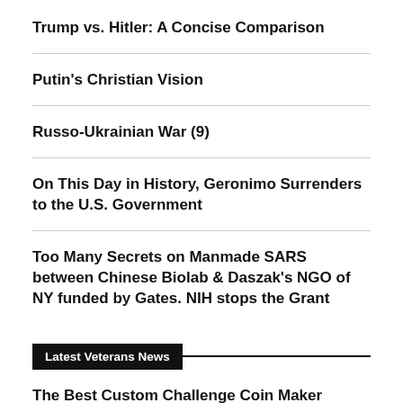Trump vs. Hitler: A Concise Comparison
Putin's Christian Vision
Russo-Ukrainian War (9)
On This Day in History, Geronimo Surrenders to the U.S. Government
Too Many Secrets on Manmade SARS between Chinese Biolab & Daszak's NGO of NY funded by Gates. NIH stops the Grant
Latest Veterans News
The Best Custom Challenge Coin Maker
Home For The Warriors Honors Members of the